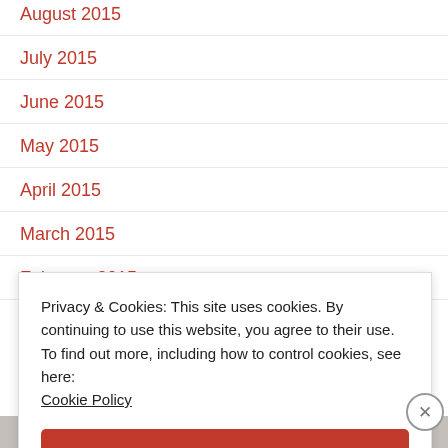August 2015
July 2015
June 2015
May 2015
April 2015
March 2015
February 2015
Privacy & Cookies: This site uses cookies. By continuing to use this website, you agree to their use.
To find out more, including how to control cookies, see here:
Cookie Policy
Close and accept